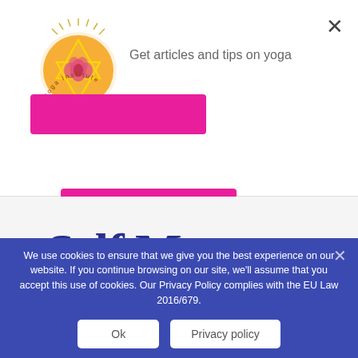[Figure (logo): Yoga Institute mandala/chakra logo with orange star-of-David pattern and lotus flower, circular text reading 'Yoga Institute']
Get articles and tips on yoga
We'd love to hear from you
Self Massage in Rajadhiraja
We use cookies to ensure that we give you the best experience on our website. If you continue browsing on our site, we'll assume that you accept this use of cookies. Our Privacy Policy complies with the EU Law 2016/679.
Ok
Privacy policy